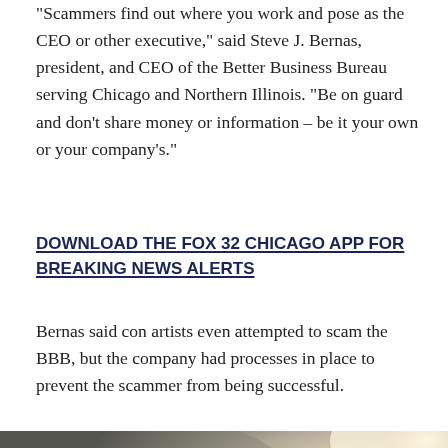"Scammers find out where you work and pose as the CEO or other executive," said Steve J. Bernas, president, and CEO of the Better Business Bureau serving Chicago and Northern Illinois. "Be on guard and don't share money or information – be it your own or your company's."
DOWNLOAD THE FOX 32 CHICAGO APP FOR BREAKING NEWS ALERTS
Bernas said con artists even attempted to scam the BBB, but the company had processes in place to prevent the scammer from being successful.
[Figure (photo): A person holding a smartphone, viewed from behind, with a blurred outdoor background with light flare.]